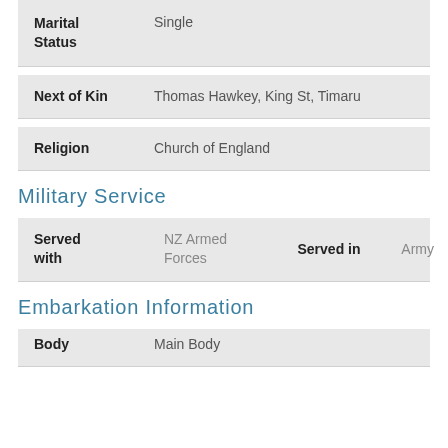| Field | Value |
| --- | --- |
| Marital Status | Single |
| Next of Kin | Thomas Hawkey, King St, Timaru |
| Religion | Church of England |
Military Service
| Field | Value | Field2 | Value2 |
| --- | --- | --- | --- |
| Served with | NZ Armed Forces | Served in | Army |
Embarkation Information
| Field | Value |
| --- | --- |
| Body | Main Body |